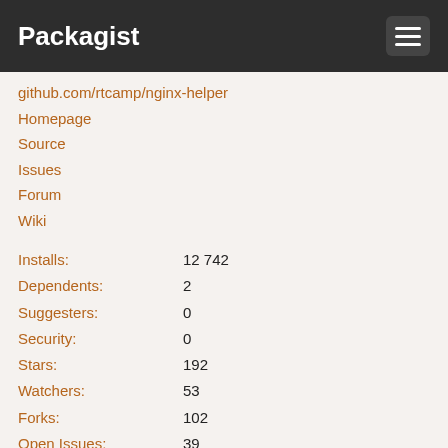Packagist
github.com/rtcamp/nginx-helper
Homepage
Source
Issues
Forum
Wiki
| Label | Value |
| --- | --- |
| Installs: | 12 742 |
| Dependents: | 2 |
| Suggesters: | 0 |
| Security: | 0 |
| Stars: | 192 |
| Watchers: | 53 |
| Forks: | 102 |
| Open Issues: | 39 |
| Type: | wordpress-plugin |
2.2.2
2020-05-04 07:24 UTC